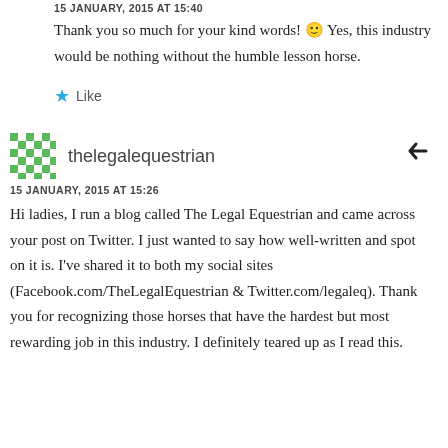15 JANUARY, 2015 AT 15:40
Thank you so much for your kind words! 🙂 Yes, this industry would be nothing without the humble lesson horse.
Like
thelegalequestrian
15 JANUARY, 2015 AT 15:26
Hi ladies, I run a blog called The Legal Equestrian and came across your post on Twitter. I just wanted to say how well-written and spot on it is. I've shared it to both my social sites (Facebook.com/TheLegalEquestrian & Twitter.com/legaleq). Thank you for recognizing those horses that have the hardest but most rewarding job in this industry. I definitely teared up as I read this.